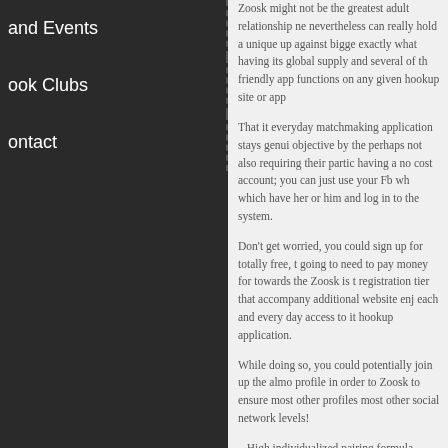and Events
ook Clubs
ontact
Zoosk might not be the greatest adult relationship ne nevertheless can really hold a unique up against bigge exactly what having its global supply and several of th friendly app functions on any given hookup site or app
That it everyday matchmaking application stays genui objective by the perhaps not also requiring their partic having a no cost account; you can just use your Fb wh which have her or him and log in to the system.
Don't get worried, you could sign up for totally free, t going to need to pay money for towards the Zoosk is t registration tier that accompany additional website enj each and every day access to it hookup application.
While doing so, you could potentially join up the almo profile in order to Zoosk to ensure most other profiles most other social network levels!
– High individualized pairing formula – Active society individuals – Program are convenient – Available beca Frid...